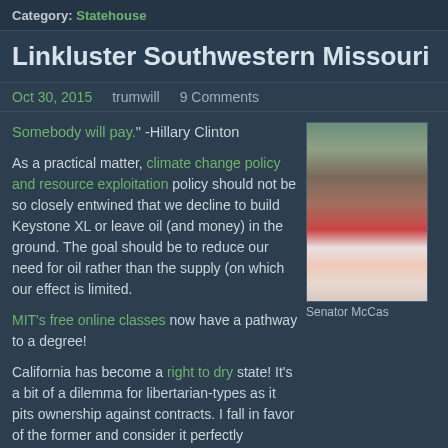Category: Statehouse
Linkluster Southwestern Missouri
Oct 30, 2015   trumwill   9 Comments
Somebody will pay." -Hillary Clinton
As a practical matter, climate change policy and resource exploitation policy should not be so closely entwined that we decline to build Keystone XL or leave oil (and money) in the ground. The goal should be to reduce our need for oil rather than the supply (on which our effect is limited.
MIT's free online classes now have a pathway to a degree!
[Figure (photo): Photo of Senator McCas (partially cropped), person wearing red and white clothing near a framed picture]
Senator McCas
California has become a right to dry state! It's a bit of a dilemma for libertarian-types as it pits ownership against contracts. I fall in favor of the former and consider it perfectly appropriate for California to say "Home ownership has to include this as a right and privilege."... but I'm not a very good libertarian.